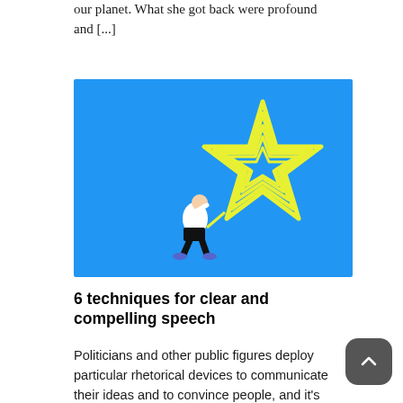our planet. What she got back were profound and [...]
[Figure (illustration): Blue background illustration with a person in black clothes looking up at a large yellow-outlined star shape. The star has multiple concentric outlines in yellow-green color on a bright blue background.]
6 techniques for clear and compelling speech
Politicians and other public figures deploy particular rhetorical devices to communicate their ideas and to convince people, and it's time that we